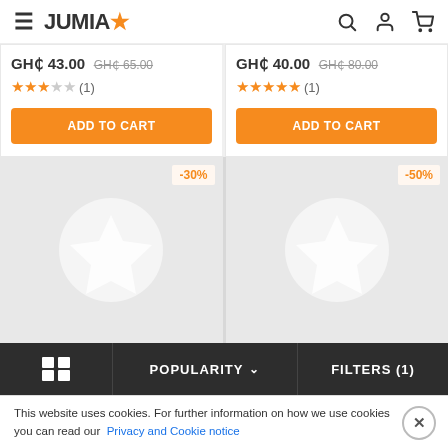JUMIA
GH₵ 43.00 GH₵ 65.00 ★★★☆☆ (1)
ADD TO CART
GH₵ 40.00 GH₵ 80.00 ★★★★★ (1)
ADD TO CART
[Figure (illustration): Product placeholder image with -30% discount badge]
[Figure (illustration): Product placeholder image with -50% discount badge]
POPULARITY ∨
FILTERS (1)
This website uses cookies. For further information on how we use cookies you can read our Privacy and Cookie notice